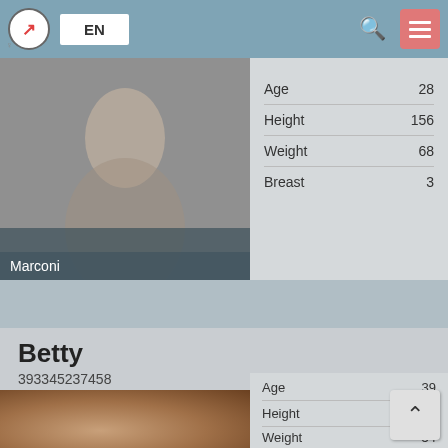EN
[Figure (photo): Grayscale photo of a person, partially cropped, with name label 'Marconi' at bottom]
|  |  |
| --- | --- |
| Age | 28 |
| Height | 156 |
| Weight | 68 |
| Breast | 3 |
Betty
393345237458
[Figure (photo): Color photo of a person in warm-toned interior setting]
| PRICES |  |
| --- | --- |
| 1 hour | 350 |
| 2 hours | 700 |
| overnight | no |
|  |  |
| --- | --- |
| Age | 39 |
| Height | 170 |
| Weight | 54 |